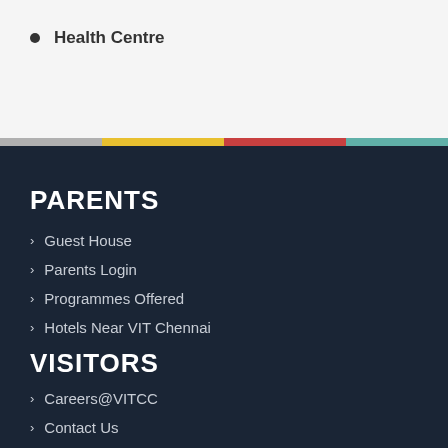Health Centre
PARENTS
Guest House
Parents Login
Programmes Offered
Hotels Near VIT Chennai
VISITORS
Careers@VITCC
Contact Us
Blog